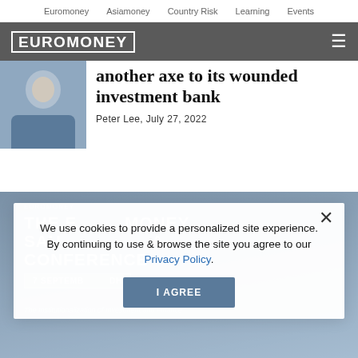Euromoney   Asiamoney   Country Risk   Learning   Events
[Figure (logo): Euromoney logo in white text on grey header bar with hamburger menu icon]
[Figure (photo): Partial photo of a person in a dark suit, cropped to left side of article]
another axe to its wounded investment bank
Peter Lee, July 27, 2022
[Figure (infographic): Cookie consent overlay with text: We use cookies to provide a personalized site experience. By continuing to use & browse the site you agree to our Privacy Policy. With an I AGREE button and a close X button. Behind the overlay is an advertisement for The Euromoney Saudi Arabia Conference, 7 September, with tagline: The Institutionalization of Investment and Finance.]